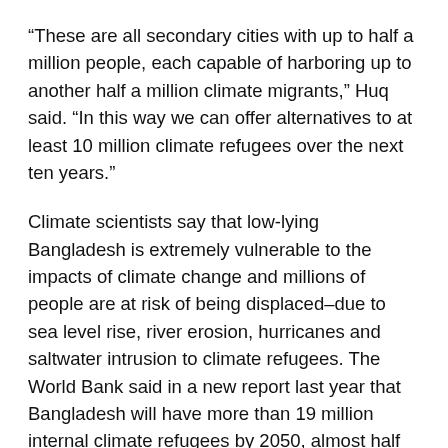“These are all secondary cities with up to half a million people, each capable of harboring up to another half a million climate migrants,” Huq said. “In this way we can offer alternatives to at least 10 million climate refugees over the next ten years.”
Climate scientists say that low-lying Bangladesh is extremely vulnerable to the impacts of climate change and millions of people are at risk of being displaced–due to sea level rise, river erosion, hurricanes and saltwater intrusion to climate refugees. The World Bank said in a new report last year that Bangladesh will have more than 19 million internal climate refugees by 2050, almost half the projected number for the entire South Asia region.